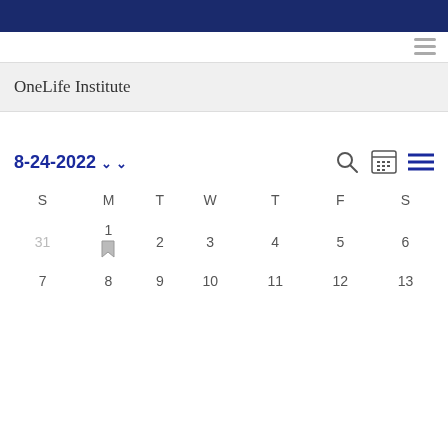OneLife Institute
8-24-2022
| S | M | T | W | T | F | S |
| --- | --- | --- | --- | --- | --- | --- |
| 31 | 1 | 2 | 3 | 4 | 5 | 6 |
| 7 | 8 | 9 | 10 | 11 | 12 | 13 |